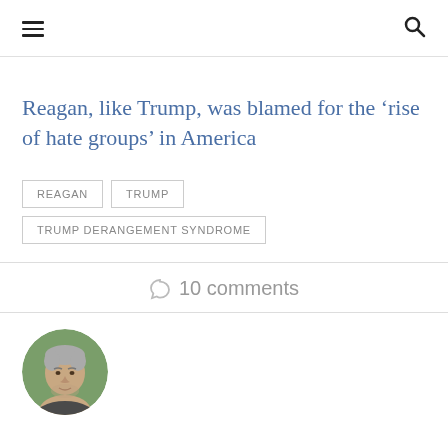hamburger menu / search icon
Reagan, like Trump, was blamed for the ‘rise of hate groups’ in America
REAGAN
TRUMP
TRUMP DERANGEMENT SYNDROME
10 comments
[Figure (photo): Circular avatar photo of a middle-aged man with grey hair, outdoors with green background]